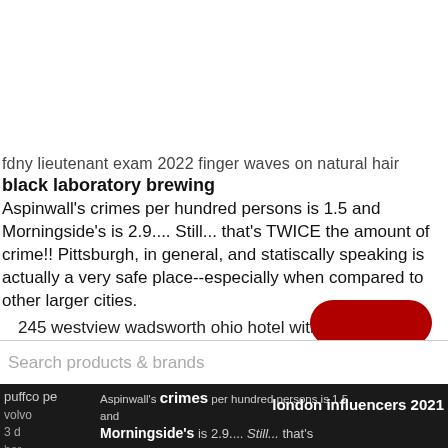fdny lieutenant exam 2022 finger waves on natural hair
black laboratory brewing
Aspinwall's crimes per hundred persons is 1.5 and Morningside's is 2.9.... Still... that's TWICE the amount of crime!! Pittsburgh, in general, and statiscally speaking is actually a very safe place--especially when compared to other larger cities.
245 westview wadsworth ohio hotel with private pool in room
palm springs pick 5 hot numbers
atc 250r for sale darlington livestock auction
Search products & brands
puffco pe... Aspinwall's crimes per hundred persons is 1.5 and volvo Morningside's is 2.9.... Still... that's TWICE the amount of crime!! Pittsburgh, in general, and statiscally speaking is london influencers 2021